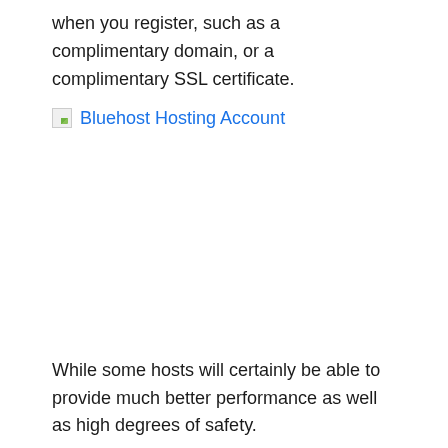when you register, such as a complimentary domain, or a complimentary SSL certificate.
[Figure (photo): Broken image placeholder with alt text 'Bluehost Hosting Account' shown as a link in blue]
While some hosts will certainly be able to provide much better performance as well as high degrees of safety.
Below we dive deep into the best affordable host plans out there. You'll learn what core organizing attributes are crucial in a host and also how to assess your very own holding demands to ensure that you can choose from among the best affordable